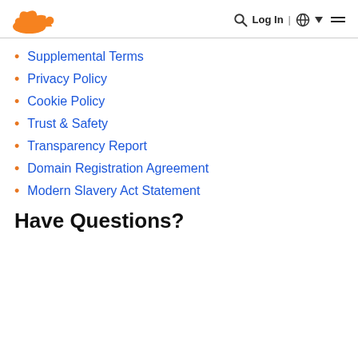Cloudflare | Log In | Globe | Menu
Supplemental Terms
Privacy Policy
Cookie Policy
Trust & Safety
Transparency Report
Domain Registration Agreement
Modern Slavery Act Statement
Have Questions?